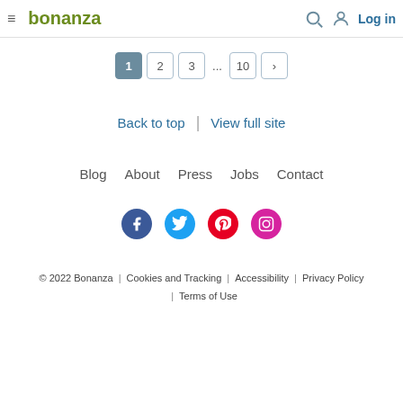bonanza | Log in
1 2 3 ... 10 >
Back to top | View full site
Blog   About   Press   Jobs   Contact
[Figure (other): Social media icons: Facebook, Twitter, Pinterest, Instagram]
© 2022 Bonanza | Cookies and Tracking | Accessibility | Privacy Policy | Terms of Use